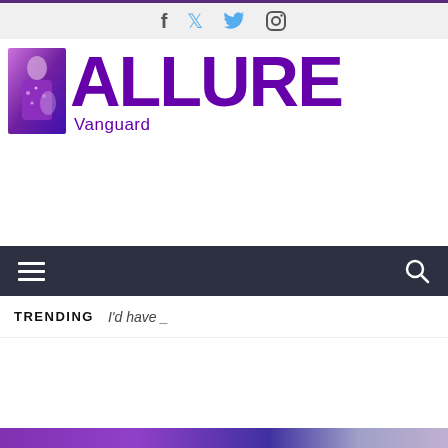Social icons: Facebook, Twitter, Instagram
[Figure (logo): Allure Vanguard logo with woman in purple sequined dress on left, bold purple ALLURE text and Vanguard subtitle]
Navigation bar with hamburger menu and search icon
TRENDING   I'd have _
[Figure (photo): Bottom purple banner strip partially visible]